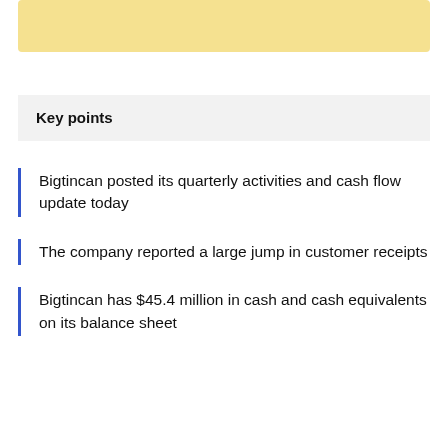[Figure (other): Yellow/gold colored rectangular banner bar at top of page]
Key points
Bigtincan posted its quarterly activities and cash flow update today
The company reported a large jump in customer receipts
Bigtincan has $45.4 million in cash and cash equivalents on its balance sheet